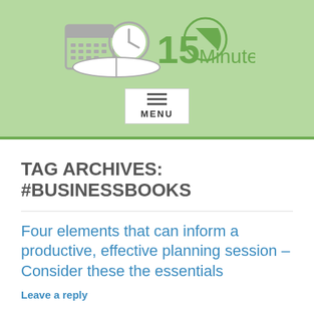[Figure (logo): 15 Minute blog logo with calendar and clock icons and '15 Minute' text in green]
[Figure (other): Menu button with three horizontal lines and the word MENU]
TAG ARCHIVES: #BUSINESSBOOKS
Four elements that can inform a productive, effective planning session – Consider these the essentials
Leave a reply
This entry was posted in Randy's blog entries and tagged #businessbookreviews, #businessbooks